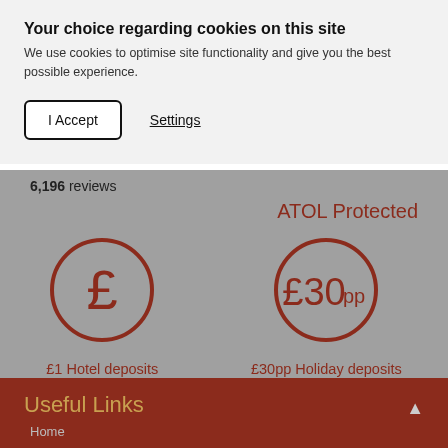Your choice regarding cookies on this site
We use cookies to optimise site functionality and give you the best possible experience.
I Accept
Settings
6,196 reviews
ATOL Protected
[Figure (illustration): Circle icon with pound sterling symbol £, representing £1 Hotel deposits]
£1 Hotel deposits
[Figure (illustration): Circle icon with text £30pp, representing £30pp Holiday deposits]
£30pp Holiday deposits
Useful Links
Home